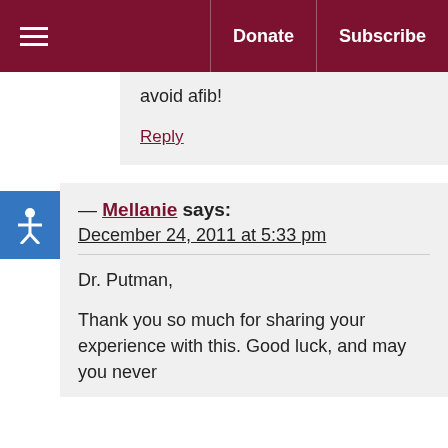Donate | Subscribe
avoid afib!
Reply
— Mellanie says: December 24, 2011 at 5:33 pm
Dr. Putman,

Thank you so much for sharing your experience with this. Good luck, and may you never